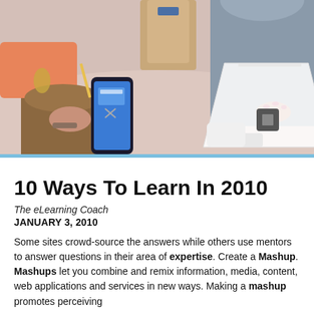[Figure (photo): Two people at a table; one holds a smartphone, the other sits in front of a white Square card reader stand with a small screen. Cardboard boxes and other items are on the pink-toned table.]
10 Ways To Learn In 2010
The eLearning Coach
JANUARY 3, 2010
Some sites crowd-source the answers while others use mentors to answer questions in their area of expertise. Create a Mashup. Mashups let you combine and remix information, media, content, web applications and services in new ways. Making a mashup promotes perceiving